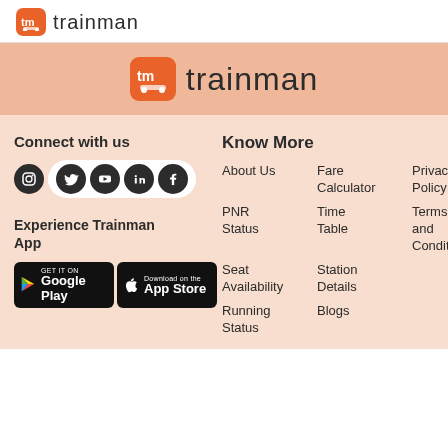tm trainman
[Figure (logo): Trainman logo on orange banner background]
Connect with us
[Figure (infographic): Social media icons row: Instagram, Twitter, YouTube, LinkedIn, Facebook]
Experience Trainman App
[Figure (infographic): Google Play and App Store download badges]
Know More
About Us
Fare Calculator
Privacy Policy
PNR Status
Time Table
Terms and Conditions
Seat Availability
Station Details
Running Status
Blogs